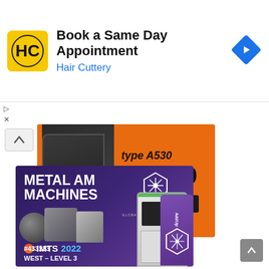[Figure (screenshot): Hair Cuttery ad banner: Book a Same Day Appointment with HC logo and navigation arrow icon]
[Figure (screenshot): Orange ad banner for type A530 3D printer at $9,999 with LEARN MORE button]
[Figure (screenshot): AddUp Metal AM Machines ad with IMTS 2022 #433133 WEST - LEVEL 3 booth info and purple background with machine image]